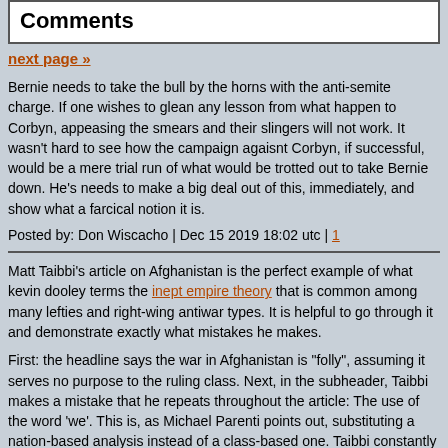Comments
next page »
Bernie needs to take the bull by the horns with the anti-semite charge. If one wishes to glean any lesson from what happen to Corbyn, appeasing the smears and their slingers will not work. It wasn't hard to see how the campaign agaisnt Corbyn, if successful, would be a mere trial run of what would be trotted out to take Bernie down. He's needs to make a big deal out of this, immediately, and show what a farcical notion it is.
Posted by: Don Wiscacho | Dec 15 2019 18:02 utc | 1
Matt Taibbi's article on Afghanistan is the perfect example of what kevin dooley terms the inept empire theory that is common among many lefties and right-wing antiwar types. It is helpful to go through it and demonstrate exactly what mistakes he makes.
First: the headline says the war in Afghanistan is "folly", assuming it serves no purpose to the ruling class. Next, in the subheader, Taibbi makes a mistake that he repeats throughout the article: The use of the word 'we'. This is, as Michael Parenti points out, substituting a nation-based analysis instead of a class-based one. Taibbi constantly